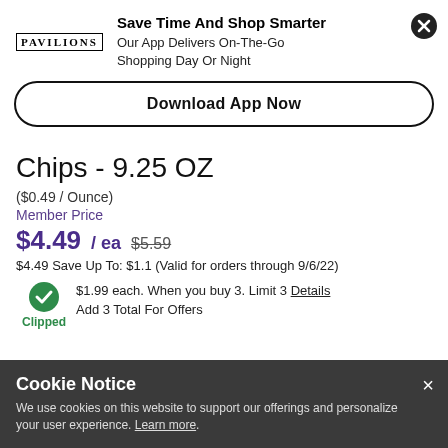[Figure (logo): Pavilions store logo text in uppercase serif font]
Save Time And Shop Smarter
Our App Delivers On-The-Go Shopping Day Or Night
Download App Now
Chips - 9.25 OZ
($0.49 / Ounce)
Member Price
$4.49 / ea $5.59
$4.49 Save Up To: $1.1 (Valid for orders through 9/6/22)
$1.99 each. When you buy 3. Limit 3 Details
Add 3 Total For Offers
Clipped
Cookie Notice
We use cookies on this website to support our offerings and personalize your user experience. Learn more.